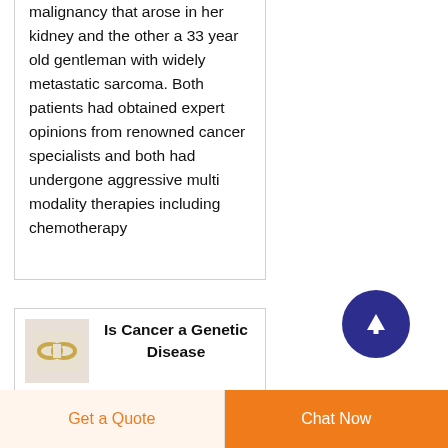malignancy that arose in her kidney and the other a 33 year old gentleman with widely metastatic sarcoma. Both patients had obtained expert opinions from renowned cancer specialists and both had undergone aggressive multi modality therapies including chemotherapy
[Figure (other): Scroll to top button — dark blue circle with white upward arrow]
[Figure (other): Small thumbnail image for article about cancer genetics, showing a chain/link icon on a light background]
Is Cancer a Genetic Disease The Cancer Genome Atlas
Get a Quote | Chat Now